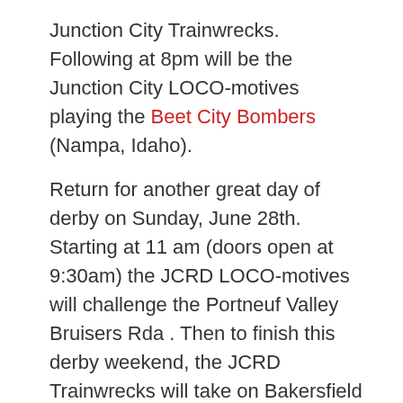Junction City Trainwrecks. Following at 8pm will be the Junction City LOCO-motives playing the Beet City Bombers (Nampa, Idaho).
Return for another great day of derby on Sunday, June 28th. Starting at 11 am (doors open at 9:30am) the JCRD LOCO-motives will challenge the Portneuf Valley Bruisers Rda . Then to finish this derby weekend, the JCRD Trainwrecks will take on Bakersfield Diamond Divas at 2 pm.
Tickets can be purchased in advance from Junction City skaters or online by following the links at: http://www.brownpapertickets.com/event/1691459
ADVANCE TICKETS*: